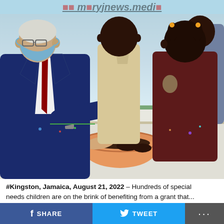jamaicans.media
[Figure (photo): An older white-haired man in a navy suit and blue face mask kneels alongside two young children over a bowl on a table. A background adult is partially visible. A red object sits at bottom left.]
#Kingston, Jamaica, August 21, 2022 – Hundreds of special needs children are on the brink of benefiting from a grant that...
SHARE   TWEET   ...